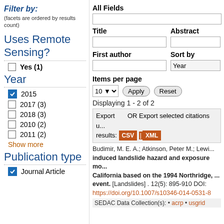Filter by: (facets are ordered by results count)
Uses Remote Sensing?
Yes (1)
Year
2015 (checked)
2017 (3)
2018 (3)
2010 (2)
2011 (2)
Show more
Publication type
Journal Article (checked)
All Fields
Title
Abstract
First author
Sort by
Items per page
Displaying 1 - 2 of 2
Export  OR Export selected citations using: results: CSV XML
Budimir, M. E. A.; Atkinson, Peter M.; Lewi... induced landslide hazard and exposure mo... California based on the 1994 Northridge, ... event. [Landslides] . 12(5): 895-910 DOI: https://doi.org/10.1007/s10346-014-0531-8
SEDAC Data Collection(s): • acrp • usgrid